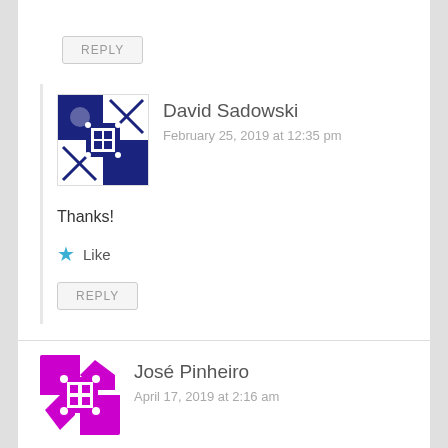REPLY
[Figure (illustration): David Sadowski avatar: dark blue geometric pattern with squares and diamonds on white background]
David Sadowski
February 25, 2019 at 12:35 pm
Thanks!
Like
REPLY
[Figure (illustration): José Pinheiro avatar: magenta/purple geometric pattern on white background]
José Pinheiro
April 17, 2019 at 2:16 am
Hello I'm from Brazil I'm looking for contact with Raymond Degroote who was here in Brazil in the 60's photographing t...